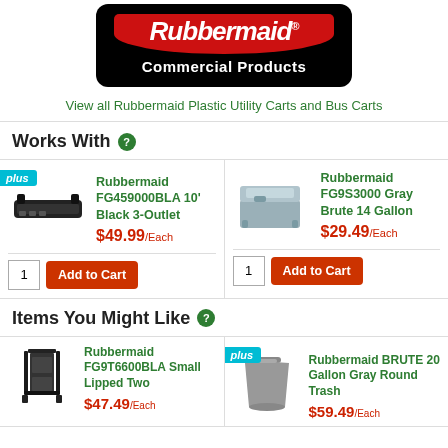[Figure (logo): Rubbermaid Commercial Products logo — red banner with white italic text 'Rubbermaid' on black rounded rectangle background with 'Commercial Products' text below]
View all Rubbermaid Plastic Utility Carts and Bus Carts
Works With ?
[Figure (photo): Rubbermaid FG459000BLA 10' Black 3-Outlet power strip product image]
Rubbermaid FG459000BLA 10' Black 3-Outlet
$49.99/Each
[Figure (photo): Rubbermaid FG9S3000 Gray Brute 14 Gallon container product image]
Rubbermaid FG9S3000 Gray Brute 14 Gallon
$29.49/Each
Items You Might Like ?
[Figure (photo): Rubbermaid FG9T6600BLA Small Lipped Two shelf unit product image]
Rubbermaid FG9T6600BLA Small Lipped Two
[Figure (photo): Rubbermaid BRUTE 20 Gallon Gray Round Trash can product image]
Rubbermaid BRUTE 20 Gallon Gray Round Trash